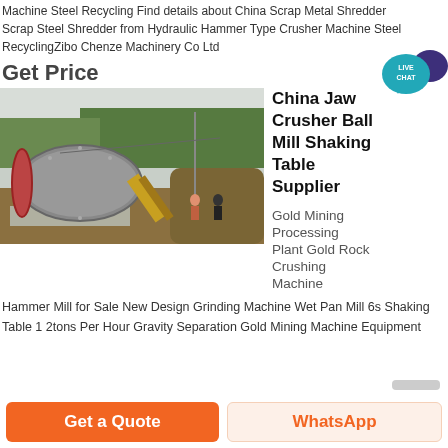Machine Steel Recycling Find details about China Scrap Metal Shredder Scrap Steel Shredder from Hydraulic Hammer Type Crusher Machine Steel RecyclingZibo Chenze Machinery Co Ltd
Get Price
[Figure (photo): Outdoor photo of a large industrial ball mill machine on a construction/mining site with trees in the background and workers nearby.]
China Jaw Crusher Ball Mill Shaking Table Supplier
Gold Mining
Processing
Plant Gold Rock
Crushing
Machine
Hammer Mill for Sale New Design Grinding Machine Wet Pan Mill 6s Shaking Table 1 2tons Per Hour Gravity Separation Gold Mining Machine Equipment
Get a Quote
WhatsApp